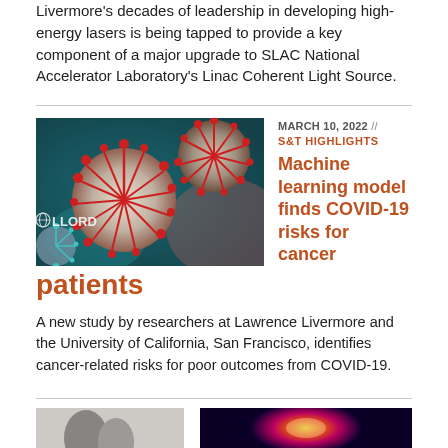Livermore's decades of leadership in developing high-energy lasers is being tapped to provide a key component of a major upgrade to SLAC National Accelerator Laboratory's Linac Coherent Light Source.
[Figure (photo): Close-up 3D rendering of coronavirus (COVID-19) particles with spike proteins, teal and red coloring, with LLORD watermark logo]
MARCH 10, 2022 // S&T HIGHLIGHTS
Machine learning model finds COVID-19 risks for cancer patients
A new study by researchers at Lawrence Livermore and the University of California, San Francisco, identifies cancer-related risks for poor outcomes from COVID-19.
[Figure (photo): Two small thumbnail images at the bottom of the page: left shows a person silhouette against a light background, right shows a colorful scientific visualization (blue/orange/purple)]